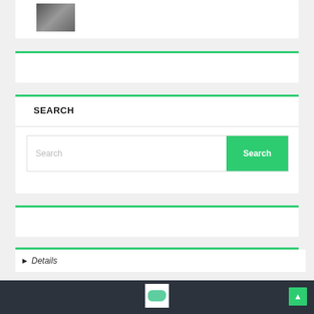[Figure (photo): Small thumbnail image in white card at top]
SEARCH
Search (input field with Search button)
Details
[Figure (logo): Small logo in white square on dark footer]
Footer with back-to-top button